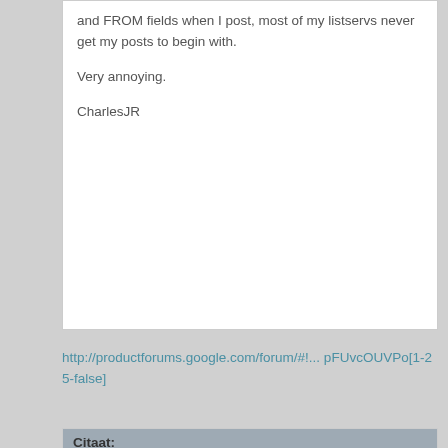and FROM fields when I post, most of my listservs never get my posts to begin with.

Very annoying.

CharlesJR
http://productforums.google.com/forum/#!... pFUvcOUVPo[1-25-false]
Citaat:
Thanks for posting on this issue and huge thanks to Brian for stepping in. On the Gmail side, this was a minor change that was made in order to be more consistent with how our system handles duplicate messages. Normally, if you're sending mail to a mailing list that